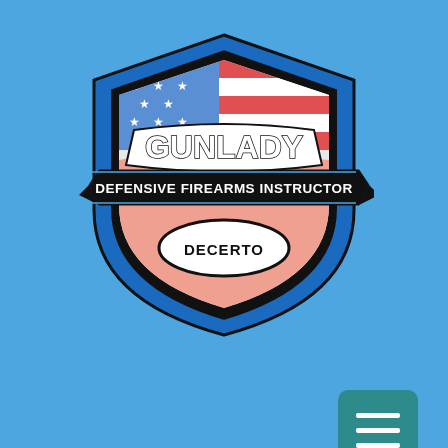[Figure (logo): GunLady Defensive Firearms Instructor Decerto shield logo with American flag motif, black banner ribbon, blue shield outline on light blue background]
[Figure (other): Teal/dark cyan hamburger menu button with three horizontal white lines, rounded square shape]